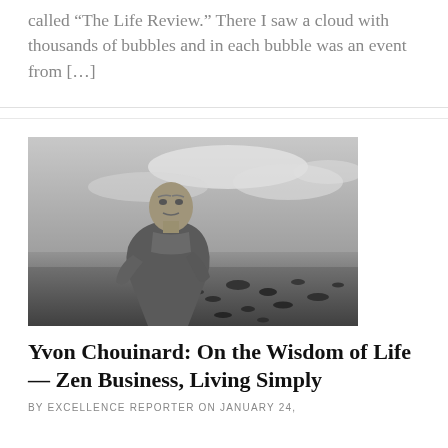called “The Life Review.” There I saw a cloud with thousands of bubbles and in each bubble was an event from [...]
[Figure (photo): Black and white photograph of Yvon Chouinard, a bald older man wearing a windbreaker jacket, standing on a rocky beach with a dramatic cloudy sky behind him.]
Yvon Chouinard: On the Wisdom of Life — Zen Business, Living Simply
BY EXCELLENCE REPORTER ON JANUARY 24,